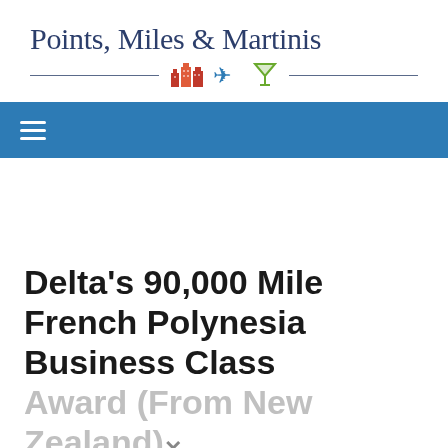[Figure (logo): Points, Miles & Martinis logo with title text and decorative icons (buildings, airplane, martini glass) with horizontal lines]
[Figure (screenshot): Blue navigation bar with white hamburger menu icon]
Delta's 90,000 Mile French Polynesia Business Class Award (From New Zealand)